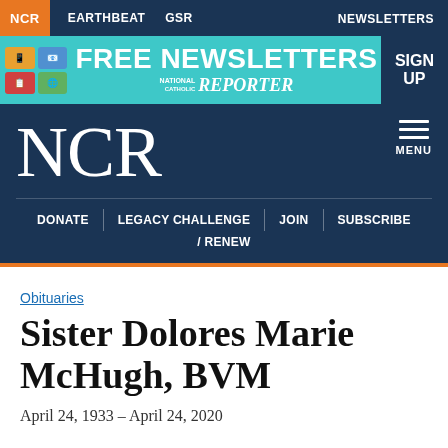NCR  EARTHBEAT  GSR  NEWSLETTERS
[Figure (infographic): FREE NEWSLETTERS advertisement banner for National Catholic Reporter with SIGN UP button]
NCR  MENU
DONATE  LEGACY CHALLENGE  JOIN  SUBSCRIBE  / RENEW
Obituaries
Sister Dolores Marie McHugh, BVM
April 24, 1933 – April 24, 2020